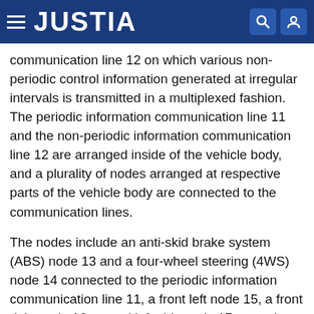JUSTIA
communication line 12 on which various non-periodic control information generated at irregular intervals is transmitted in a multiplexed fashion. The periodic information communication line 11 and the non-periodic information communication line 12 are arranged inside of the vehicle body, and a plurality of nodes arranged at respective parts of the vehicle body are connected to the communication lines.
The nodes include an anti-skid brake system (ABS) node 13 and a four-wheel steering (4WS) node 14 connected to the periodic information communication line 11, a front left node 15, a front right node 16, a cowl left-side node 17, a cowl right-side node 18, an instrument panel node 19, an audio system node 20, a center console node 21, a front left door node 22, a front right door node 23, a rear left door node 24, a rear right door node